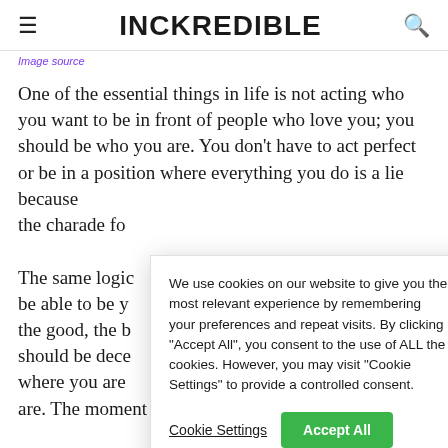INCKREDIBLE
Image source
One of the essential things in life is not acting who you want to be in front of people who love you; you should be who you are. You don't have to act perfect or be in a position where everything you do is a lie because the charade fo
We use cookies on our website to give you the most relevant experience by remembering your preferences and repeat visits. By clicking "Accept All", you consent to the use of ALL the cookies. However, you may visit "Cookie Settings" to provide a controlled consent.
The same logic be able to be y the good, the b should be dece where you are are. The moment you start feeling that discomfo